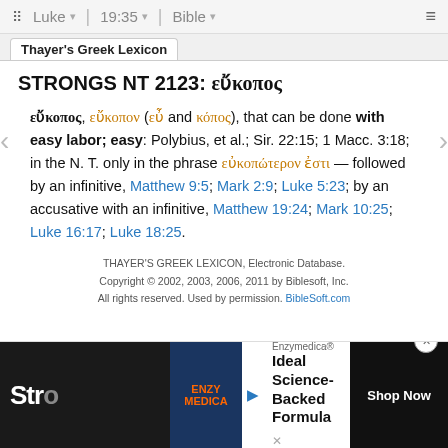Luke  19:35  Bible
Thayer's Greek Lexicon
STRONGS NT 2123: εὔκοπος
εὔκοπος, εὔκοπον (εὖ and κόπος), that can be done with easy labor; easy: Polybius, et al.; Sir. 22:15; 1 Macc. 3:18; in the N. T. only in the phrase εὐκοπώτερον ἐστι — followed by an infinitive, Matthew 9:5; Mark 2:9; Luke 5:23; by an accusative with an infinitive, Matthew 19:24; Mark 10:25; Luke 16:17; Luke 18:25.
THAYER'S GREEK LEXICON, Electronic Database. Copyright © 2002, 2003, 2006, 2011 by Biblesoft, Inc. All rights reserved. Used by permission. BibleSoft.com